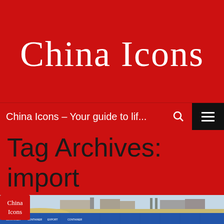China Icons
China Icons – Your guide to lif...
Tag Archives: import
[Figure (photo): A long row of blue shipping/cargo containers along a rail line with industrial buildings and a chimney stack in the background, open flat terrain, overcast sky. A red China Icons logo overlay appears in the top-left corner of the photo.]